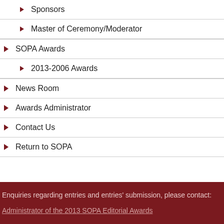Sponsors
Master of Ceremony/Moderator
SOPA Awards
2013-2006 Awards
News Room
Awards Administrator
Contact Us
Return to SOPA
Enquiries regarding entries and entries' submission, please contact:

Administrator of the 2013 SOPA Editorial Awards